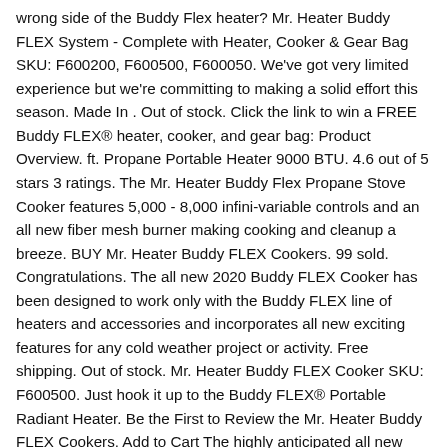wrong side of the Buddy Flex heater? Mr. Heater Buddy FLEX System - Complete with Heater, Cooker & Gear Bag SKU: F600200, F600500, F600050. We've got very limited experience but we're committing to making a solid effort this season. Made In . Out of stock. Click the link to win a FREE Buddy FLEX® heater, cooker, and gear bag: Product Overview. ft. Propane Portable Heater 9000 BTU. 4.6 out of 5 stars 3 ratings. The Mr. Heater Buddy Flex Propane Stove Cooker features 5,000 - 8,000 infini-variable controls and an all new fiber mesh burner making cooking and cleanup a breeze. BUY Mr. Heater Buddy FLEX Cookers. 99 sold. Congratulations. The all new 2020 Buddy FLEX Cooker has been designed to work only with the Buddy FLEX line of heaters and accessories and incorporates all new exciting features for any cold weather project or activity. Free shipping. Out of stock. Mr. Heater Buddy FLEX Cooker SKU: F600500. Just hook it up to the Buddy FLEX® Portable Radiant Heater. Be the First to Review the Mr. Heater Buddy FLEX Cookers. Add to Cart The highly anticipated all new Buddy FLEX